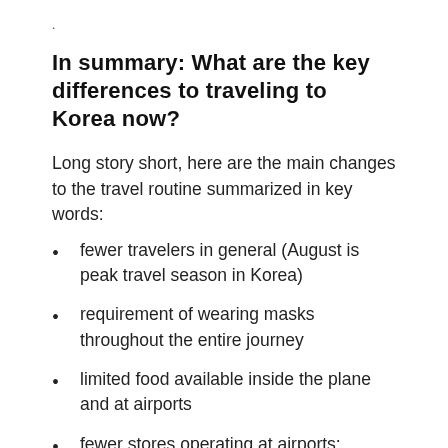.
In summary: What are the key differences to traveling to Korea now?
Long story short, here are the main changes to the travel routine summarized in key words:
fewer travelers in general (August is peak travel season in Korea)
requirement of wearing masks throughout the entire journey
limited food available inside the plane and at airports
fewer stores operating at airports; selection of offered goods is reduced to the essentials